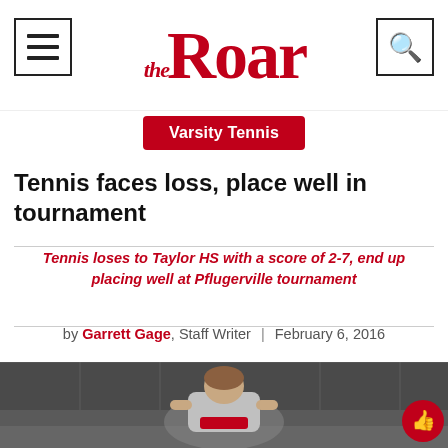the Roar
Varsity Tennis
Tennis faces loss, place well in tournament
Tennis loses to Taylor HS with a score of 2-7, end up placing well at Pflugerville tournament
by Garrett Gage, Staff Writer | February 6, 2016
[Figure (photo): A female tennis player crouching/preparing to hit during a match, wearing a gray jersey. Photo taken at a tennis court with chain-link fencing visible in background.]